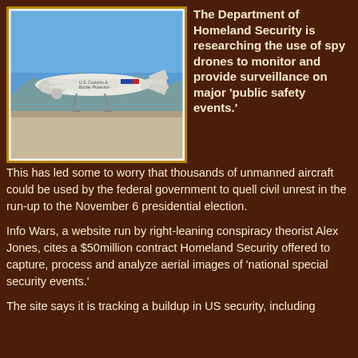[Figure (photo): U.S. Customs and Border Protection unmanned aerial vehicle (drone) on tarmac under blue sky in desert setting]
The Department of Homeland Security is researching the use of spy drones to monitor and provide surveillance on major 'public safety events.'
This has led some to worry that thousands of unmanned aircraft could be used by the federal government to quell civil unrest in the run-up to the November 6 presidential election.
Info Wars, a website run by right-leaning conspiracy theorist Alex Jones, cites a $50million contract Homeland Security offered to capture, process and analyze aerial images of 'national special security events.'
The site says it is tracking a buildup in US security, including